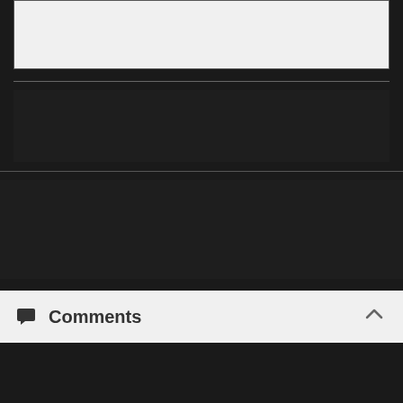[Figure (screenshot): Light grey input/text box area at the top]
Tags
ADVERTISEMENT
Comments